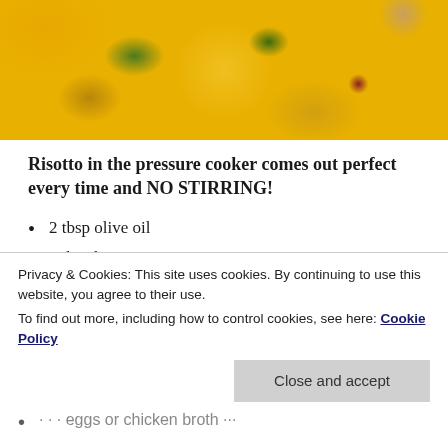[Figure (photo): Close-up photo of yellow/golden risotto with green herbs (chives) and red specks, served on a white plate]
Risotto in the pressure cooker comes out perfect every time and NO STIRRING!
2 tbsp olive oil
2 tbsp butter
1 onion, diced
Privacy & Cookies: This site uses cookies. By continuing to use this website, you agree to their use.
To find out more, including how to control cookies, see here: Cookie Policy
Close and accept